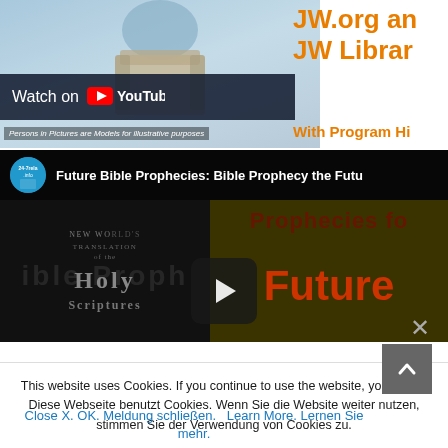[Figure (screenshot): Top portion of a webpage showing a person holding a cardboard box (moving scene), with orange text reading 'JW.org an...' and 'JW Librar...' and 'With Program Hi...' partially visible on the right. A 'Watch on YouTube' bar overlays the bottom of the image. Caption reads 'Persons in Pictures are Models for illustrative purposes'.]
[Figure (screenshot): YouTube video embed showing 'Future Bible Prophecies: Bible Prophecy the Futu...' with channel icon for 24-7rela.info. Video thumbnail shows text 'Bible Prophecies fo...' with 'Future' in red/orange, overlaid on an image of the New World Translation Holy Scriptures Bible. A play button is visible in the center.]
This website uses Cookies. If you continue to use the website, you agree. Diese Webseite benutzt Cookies. Wenn Sie die Website weiter nutzen, stimmen Sie der Verwendung von Cookies zu.
Close X. OK. Meldung schließen.    Learn More. Lernen Sie mehr.